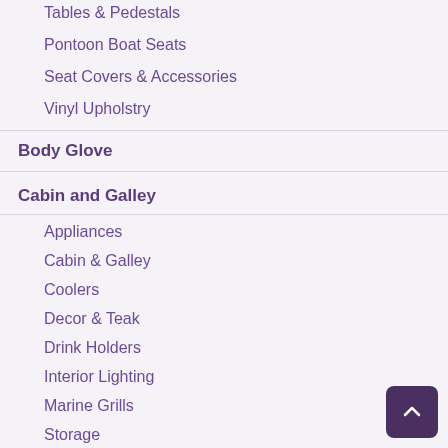Tables & Pedestals
Pontoon Boat Seats
Seat Covers & Accessories
Vinyl Upholstry
Body Glove
Cabin and Galley
Appliances
Cabin & Galley
Coolers
Decor & Teak
Drink Holders
Interior Lighting
Marine Grills
Storage